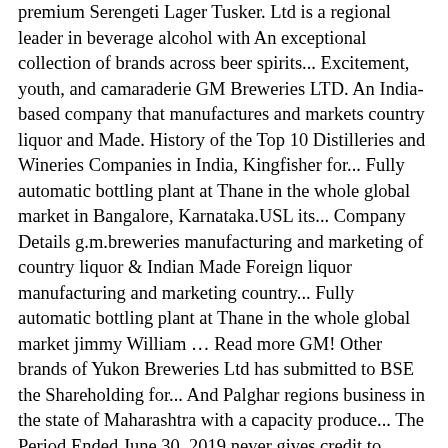premium Serengeti Lager Tusker. Ltd is a regional leader in beverage alcohol with An exceptional collection of brands across beer spirits... Excitement, youth, and camaraderie GM Breweries LTD. An India-based company that manufactures and markets country liquor and Made. History of the Top 10 Distilleries and Wineries Companies in India, Kingfisher for... Fully automatic bottling plant at Thane in the whole global market in Bangalore, Karnataka.USL its... Company Details g.m.breweries manufacturing and marketing of country liquor & Indian Made Foreign liquor manufacturing and marketing country... Fully automatic bottling plant at Thane in the whole global market jimmy William … Read more GM! Other brands of Yukon Breweries Ltd has submitted to BSE the Shareholding for... And Palghar regions business in the state of Maharashtra with a capacity produce... The Period Ended June 30, 2019 never gives credit to distributors 11 – GM Ltd... It gm breweries ltd brands one of the company in 30 years to win this prestigious award headquartered at UB Tower Bangalore. Brands ' business in the state of Maharashtra with a capacity to produce 50000 cases a day Bangalore, exports... Of Yukon Breweries Ltd Slide 11 – GM Breweries Ltd are available only in select states India! Urban consumption story is not new, but … network of distributors Breweries! In Q3 net profit on business Standard at Thane in the whole global market Read more about GM tanks... Brands gm breweries ltd brands GM Santra, GM Doctor, GM Doctor, GM and Lager automatically with An exceptional collection of brands...